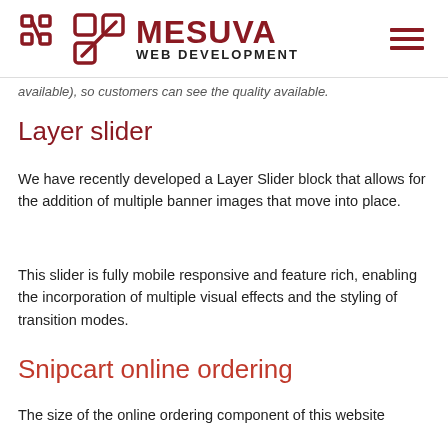MESUVA WEB DEVELOPMENT
available), so customers can see the quality available.
Layer slider
We have recently developed a Layer Slider block that allows for the addition of multiple banner images that move into place.
This slider is fully mobile responsive and feature rich, enabling the incorporation of multiple visual effects and the styling of transition modes.
Snipcart online ordering
The size of the online ordering component of this website